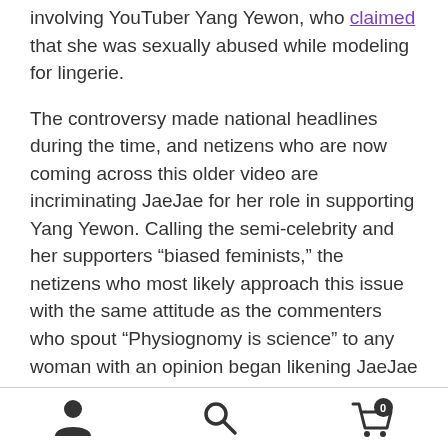involving YouTuber Yang Yewon, who claimed that she was sexually abused while modeling for lingerie.
The controversy made national headlines during the time, and netizens who are now coming across this older video are incriminating JaeJae for her role in supporting Yang Yewon. Calling the semi-celebrity and her supporters “biased feminists,” the netizens who most likely approach this issue with the same attitude as the commenters who spout “Physiognomy is science” to any woman with an opinion began likening JaeJae to a murderer, after one of the men involved in the sexual harassment case took his life amid the investigation.
Despite the criticism, JaeJae continues to host her
navigation icons: person, search, cart (0)